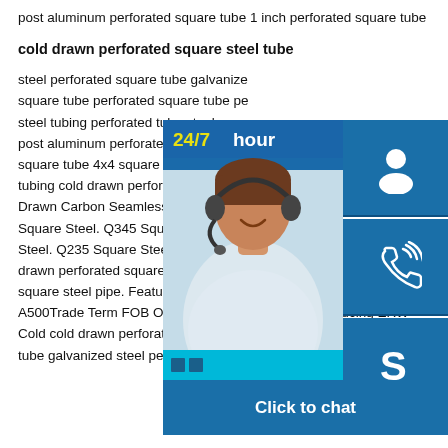post aluminum perforated square tube 1 inch perforated square tube
cold drawn perforated square steel tube
steel perforated square tube galvanized square tube perforated square tube pe steel tubing perforated tube steel squa post aluminum perforated square tube square tube 4x4 square steel tubing, 4 tubing cold drawn perforated square st Drawn Carbon Seamless Steel Tubing Square Steel. Q345 Square Steel Pipe Steel. Q235 Square Steel Pipe. Result drawn perforated square steel tube square tube / square steel tube / square steel pipe. Features in detail Standard GB/T6728, ASTM-A500Trade Term FOB OR CIF CNFtechnology of producing ERW Cold cold drawn perforated square steel tubesteel perforated square tube galvanized steel perforated square tube perforated
[Figure (photo): Customer service chat widget overlay showing a smiling woman with headset, 24/7 hour label in blue/yellow, three blue icon boxes (headset/person, phone, Skype), and a 'Click to chat' button at the bottom.]